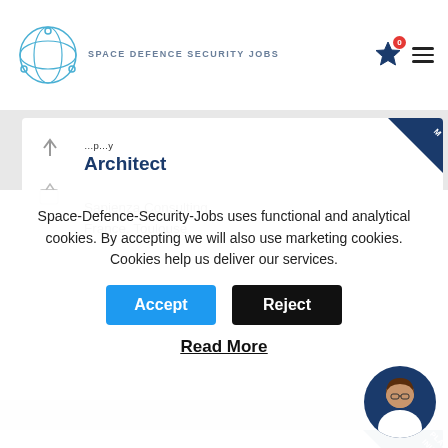SPACE DEFENCE SECURITY JOBS
Architect
Sapienza Consulting
France, Toulouse
Hardware Technician
Sapienza Consulting
Space-Defence-Security-Jobs uses functional and analytical cookies. By accepting we will also use marketing cookies. Cookies help us deliver our services.
Accept
Reject
Read More